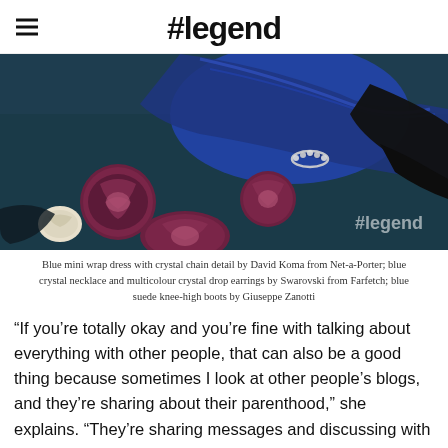#legend
[Figure (photo): Fashion editorial photo showing a person lying on a dark teal surface wearing a blue satin mini wrap dress with crystal chain bracelet detail and black sleeves, surrounded by sliced red cabbage and a white onion. A '#legend' watermark appears in the lower right.]
Blue mini wrap dress with crystal chain detail by David Koma from Net-a-Porter; blue crystal necklace and multicolour crystal drop earrings by Swarovski from Farfetch; blue suede knee-high boots by Giuseppe Zanotti
“If you’re totally okay and you’re fine with talking about everything with other people, that can also be a good thing because sometimes I look at other people’s blogs, and they’re sharing about their parenthood,” she explains. “They’re sharing messages and discussing with other people.”